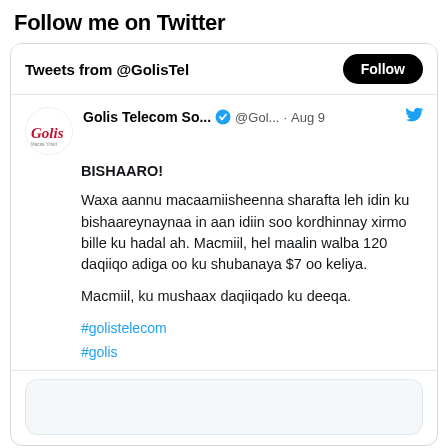Follow me on Twitter
Tweets from @GolisTel
[Figure (logo): Golis Telecom logo — red stylized text 'Golis' with tagline]
Golis Telecom So... ✓ @Gol... · Aug 9
BISHAARO!

Waxa aannu macaamiisheenna sharafta leh idin ku bishaareynay­naa in aan idiin soo kordhinnay xirmo bille ku hadal ah. Macmiil, hel maalin walba 120 daqiiqo adiga oo ku shubanaya $7 oo keliya.

Macmiil, ku mushaax daqiiqado ku deeqa.

#golistelecom
#golis